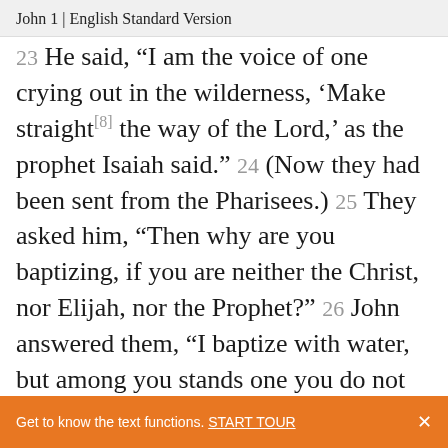John 1 | English Standard Version
23 He said, “I am the voice of one crying out in the wilderness, ‘Make straight[8] the way of the Lord,’ as the prophet Isaiah said.” 24 (Now they had been sent from the Pharisees.) 25 They asked him, “Then why are you baptizing, if you are neither the Christ, nor Elijah, nor the Prophet?” 26 John answered them, “I baptize with water, but among you stands one you do not know, 27 even he
Get to know the text functions. START TOUR ×